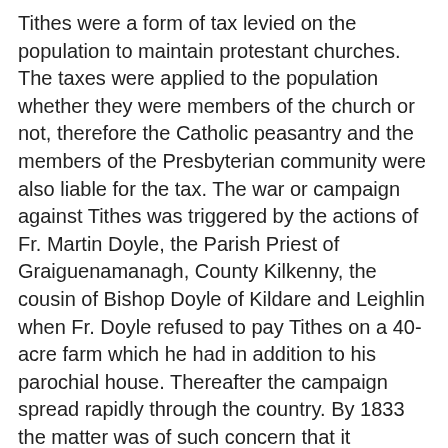Tithes were a form of tax levied on the population to maintain protestant churches. The taxes were applied to the population whether they were members of the church or not, therefore the Catholic peasantry and the members of the Presbyterian community were also liable for the tax. The war or campaign against Tithes was triggered by the actions of Fr. Martin Doyle, the Parish Priest of Graiguenamanagh, County Kilkenny, the cousin of Bishop Doyle of Kildare and Leighlin when Fr. Doyle refused to pay Tithes on a 40-acre farm which he had in addition to his parochial house. Thereafter the campaign spread rapidly through the country. By 1833 the matter was of such concern that it received considerable attention in the House of Commons. The chief secretary of Ireland E.G. Stanley delivered a substantial speech to the house on February 27th, 1833 where he detailed what he described as the 'outrages' in Kildare. The purpose of the speech was to support his promotion of the Disturbances (Ireland) bill which was in his words "for the repression of violence and disturbance, for the protection of life and property and for the maintenance of order", he described its adoption as "a most imperious and pressing necessity". Speaking of Athy he referred to reports received